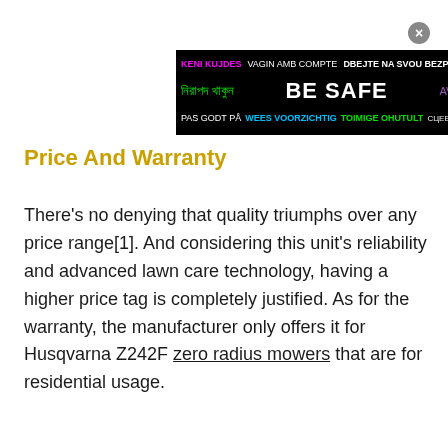[Figure (other): Safety advertisement banner with multilingual 'BE SAFE' message in multiple languages including Bengali, Catalan, Czech, Norwegian, Dutch, Estonian, Romanian. Text on black background.]
Price And Warranty
There’s no denying that quality triumphs over any price range[1]. And considering this unit’s reliability and advanced lawn care technology, having a higher price tag is completely justified. As for the warranty, the manufacturer only offers it for Husqvarna Z242F zero radius mowers that are for residential usage.